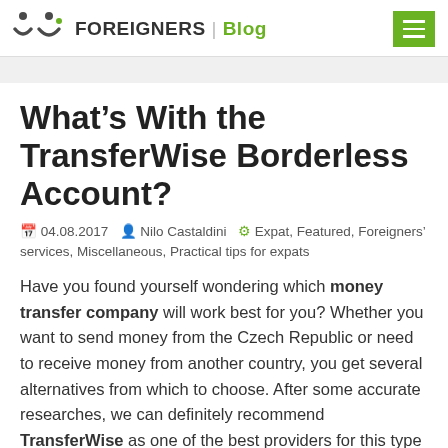FOREIGNERS | Blog
What’s With the TransferWise Borderless Account?
04.08.2017  Nilo Castaldini  Expat, Featured, Foreigners’ services, Miscellaneous, Practical tips for expats
Have you found yourself wondering which money transfer company will work best for you? Whether you want to send money from the Czech Republic or need to receive money from another country, you get several alternatives from which to choose. After some accurate researches, we can definitely recommend TransferWise as one of the best providers for this type of services! The company –